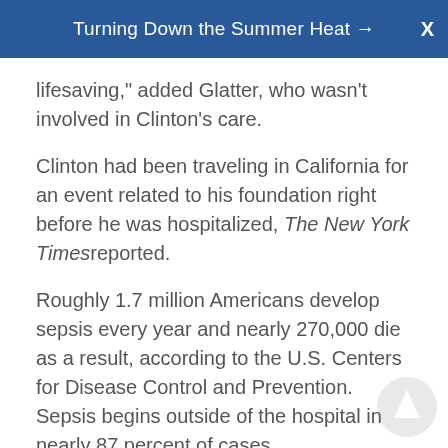Turning Down the Summer Heat →  X
lifesaving," added Glatter, who wasn't involved in Clinton's care.
Clinton had been traveling in California for an event related to his foundation right before he was hospitalized, The New York Times reported.
Roughly 1.7 million Americans develop sepsis every year and nearly 270,000 die as a result, according to the U.S. Centers for Disease Control and Prevention. Sepsis begins outside of the hospital in nearly 87 percent of cases.
This is not the first time health issues have landed Clinton in the hospital.
In 2010, he was taken to a New York hospital where